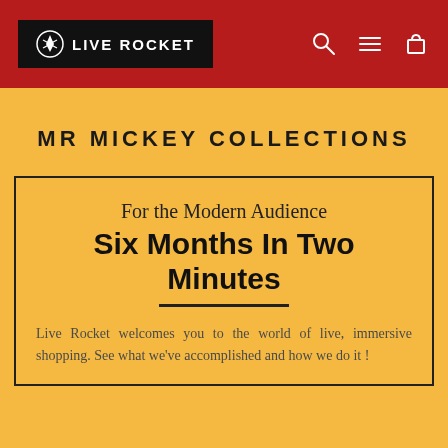LIVE ROCKET
MR MICKEY COLLECTIONS
For the Modern Audience
Six Months In Two Minutes
Live Rocket welcomes you to the world of live, immersive shopping. See what we've accomplished and how we do it !